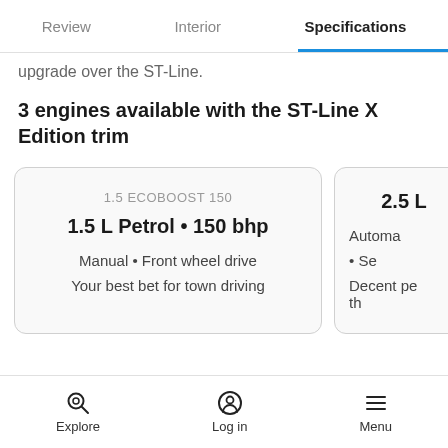Review | Interior | Specifications
upgrade over the ST-Line.
3 engines available with the ST-Line X Edition trim
1.5 ECOBOOST 150
1.5 L Petrol • 150 bhp
Manual • Front wheel drive
Your best bet for town driving
2.5 L
Automatic • Se
Decent pe th
Explore | Log in | Menu